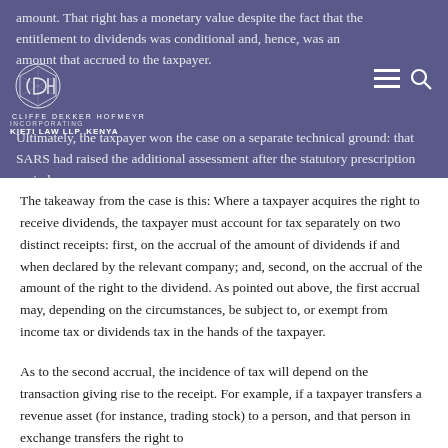amount. That right has a monetary value despite the fact that the entitlement to dividends was conditional and, hence, was an amount that accrued to the taxpayer.
Ultimately, the taxpayer won the case on a separate technical ground: that SARS had raised the additional assessment after the statutory prescription period.
The takeaway from the case is this: Where a taxpayer acquires the right to receive dividends, the taxpayer must account for tax separately on two distinct receipts: first, on the accrual of the amount of dividends if and when declared by the relevant company; and, second, on the accrual of the amount of the right to the dividend. As pointed out above, the first accrual may, depending on the circumstances, be subject to, or exempt from income tax or dividends tax in the hands of the taxpayer.
As to the second accrual, the incidence of tax will depend on the transaction giving rise to the receipt. For example, if a taxpayer transfers a revenue asset (for instance, trading stock) to a person, and that person in exchange transfers the right to